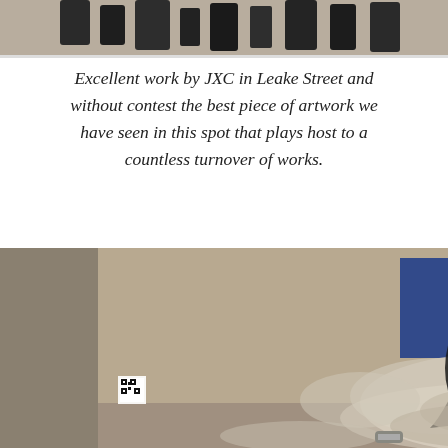[Figure (photo): Cropped top portion of a street art / graffiti photograph, showing the upper part of a mural scene.]
Excellent work by JXC in Leake Street and without contest the best piece of artwork we have seen in this spot that plays host to a countless turnover of works.
[Figure (photo): Photograph of a Banksy-style street mural on a concrete wall depicting a young girl (resembling the Les Misérables character Cosette) amid a cloud of smoke or tear gas, with a French flag behind her. A spray can sits on the ground in front. Construction barriers and scaffolding are visible to the right. A QR code is visible in the lower left of the mural.]